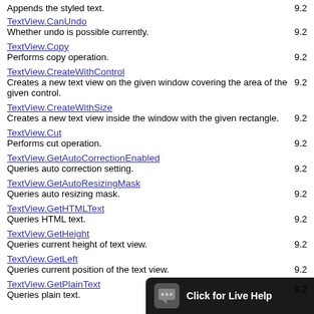Appends the styled text.   9.2
TextView.CanUndo
Whether undo is possible currently.   9.2
TextView.Copy
Performs copy operation.   9.2
TextView.CreateWithControl
Creates a new text view on the given window covering the area of the given control.   9.2
TextView.CreateWithSize
Creates a new text view inside the window with the given rectangle.   9.2
TextView.Cut
Performs cut operation.   9.2
TextView.GetAutoCorrectionEnabled
Queries auto correction setting.   9.2
TextView.GetAutoResizingMask
Queries auto resizing mask.   9.2
TextView.GetHTMLText
Queries HTML text.   9.2
TextView.GetHeight
Queries current height of text view.   9.2
TextView.GetLeft
Queries current position of the text view.   9.2
TextView.GetPlainText
Queries plain text.   9.2